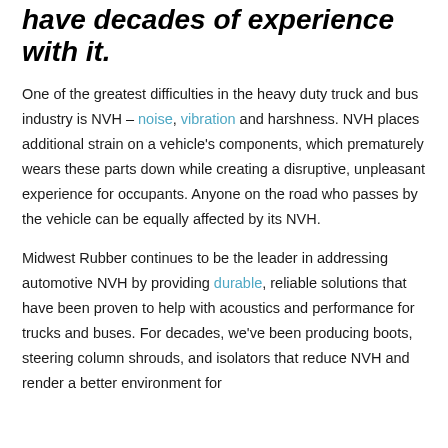have decades of experience with it.
One of the greatest difficulties in the heavy duty truck and bus industry is NVH – noise, vibration and harshness. NVH places additional strain on a vehicle's components, which prematurely wears these parts down while creating a disruptive, unpleasant experience for occupants. Anyone on the road who passes by the vehicle can be equally affected by its NVH.
Midwest Rubber continues to be the leader in addressing automotive NVH by providing durable, reliable solutions that have been proven to help with acoustics and performance for trucks and buses. For decades, we've been producing boots, steering column shrouds, and isolators that reduce NVH and render a better environment for